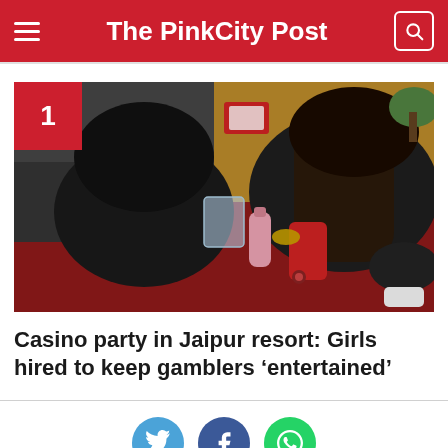The PinkCity Post
[Figure (photo): Overhead or close-up photo of people at a casino-style table with drinks, cards, and a red surface visible. People with dark hair leaning over the table.]
Casino party in Jaipur resort: Girls hired to keep gamblers ‘entertained’